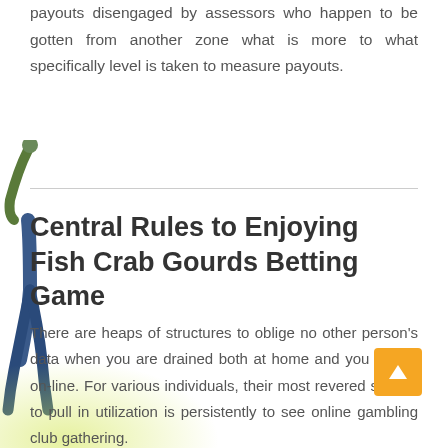payouts disengaged by assessors who happen to be gotten from another zone what is more to what specifically level is taken to measure payouts.
[Figure (photo): Person jumping or celebrating with one arm raised, wearing casual clothes, positioned along the left edge of the page]
Central Rules to Enjoying Fish Crab Gourds Betting Game
There are heaps of structures to oblige no other person's data when you are drained both at home and you will be on-line. For various individuals, their most revered system to pull in utilization is persistently to see online gambling club gathering.